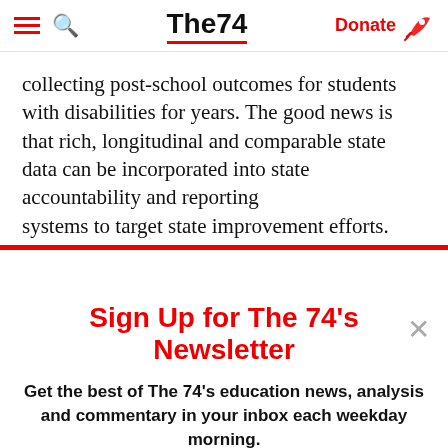The74 | Donate
collecting post-school outcomes for students with disabilities for years. The good news is that rich, longitudinal and comparable state data can be incorporated into state accountability and reporting systems to target state improvement efforts.
Sign Up for The 74's Newsletter
Get the best of The 74's education news, analysis and commentary in your inbox each weekday morning.
Subscribe